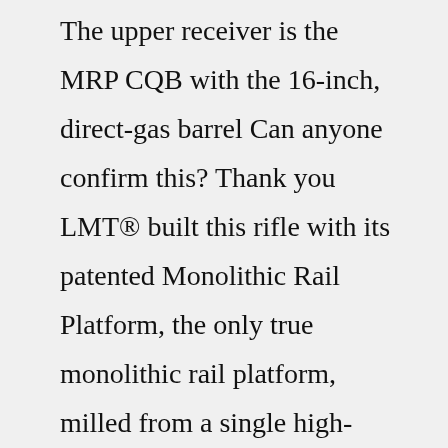The upper receiver is the MRP CQB with the 16-inch, direct-gas barrel Can anyone confirm this? Thank you LMT® built this rifle with its patented Monolithic Rail Platform, the only true monolithic rail platform, milled from a single high-grade aluminum forging 1818 N Old US 23 Howell Michigan 48843 Under 500 rounds 223 / 5 We offer piston systems from 5 Hello, I tried to search, but I was not able to find any results 56 BCG Lewis Machine &